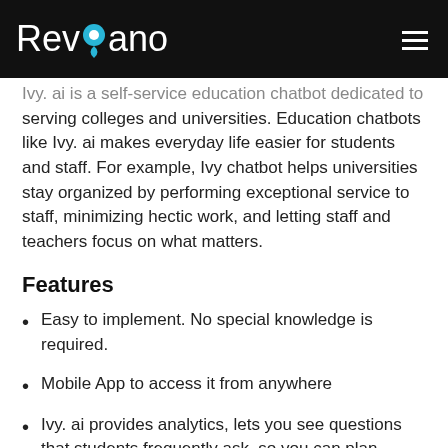Revvano
Ivy. ai is a self-service education chatbot dedicated to serving colleges and universities. Education chatbots like Ivy. ai makes everyday life easier for students and staff. For example, Ivy chatbot helps universities stay organized by performing exceptional service to staff, minimizing hectic work, and letting staff and teachers focus on what matters.
Features
Easy to implement. No special knowledge is required.
Mobile App to access it from anywhere
Ivy. ai provides analytics, lets you see questions that students frequently ask, so you can plan